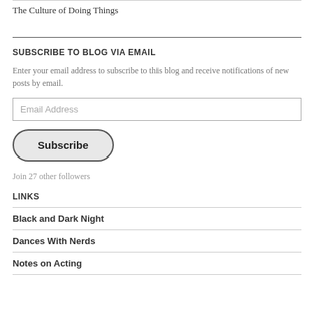The Culture of Doing Things
SUBSCRIBE TO BLOG VIA EMAIL
Enter your email address to subscribe to this blog and receive notifications of new posts by email.
Email Address
Subscribe
Join 27 other followers
LINKS
Black and Dark Night
Dances With Nerds
Notes on Acting